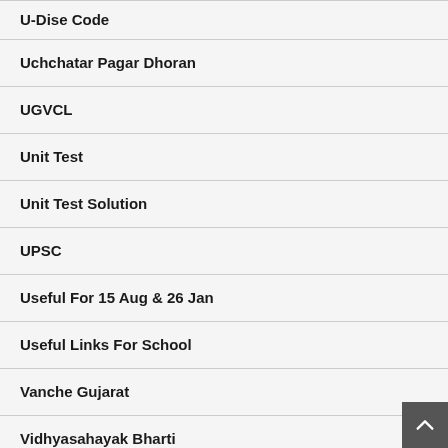U-Dise Code
Uchchatar Pagar Dhoran
UGVCL
Unit Test
Unit Test Solution
UPSC
Useful For 15 Aug & 26 Jan
Useful Links For School
Vanche Gujarat
Vidhyasahayak Bharti